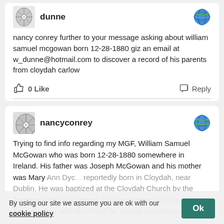dunne
nancy conrey further to your message asking about william samuel mcgowan born 12-28-1880 giz an email at w_dunne@hotmail.com to discover a record of his parents from cloydah carlow
0 Like   Reply
nancyconrey
Trying to find info regarding my MGF, William Samuel McGowan who was born 12-28-1880 somewhere in Ireland. His father was Joseph McGowan and his mother was Mary Ann Dyc... reportedly born in Cloydah, near Dublin. He was baptized at the Cloydah Church by the Reverend Tho R. Greene. This was in the Diocese of Seighlin. Any and all info will be greatly appreciated.
By using our site we assume you are ok with our cookie policy   Ok